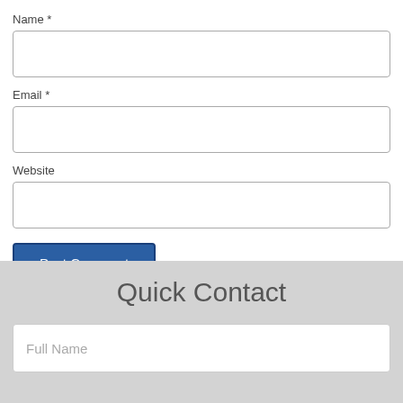Name *
[Figure (screenshot): Empty text input box for Name field]
Email *
[Figure (screenshot): Empty text input box for Email field]
Website
[Figure (screenshot): Empty text input box for Website field]
Post Comment
Quick Contact
Full Name